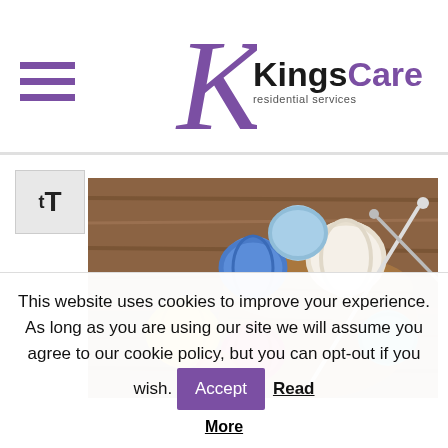[Figure (logo): KingsCare logo with stylized purple K and bold text]
[Figure (other): Hamburger/menu icon with three purple horizontal lines]
[Figure (other): tT text size accessibility control icon]
[Figure (photo): Colorful balls of yarn in a basket on a wooden surface, with knitting needles]
This website uses cookies to improve your experience. As long as you are using our site we will assume you agree to our cookie policy, but you can opt-out if you wish. Accept Read More